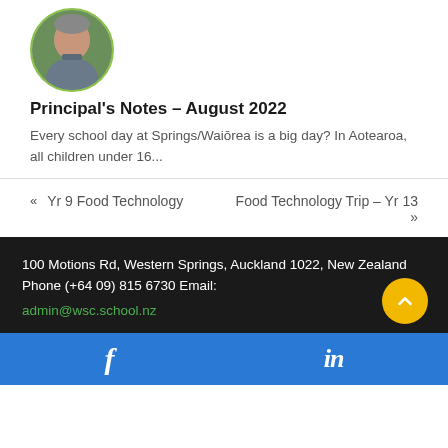[Figure (photo): Circular profile photo of a man in a grey collared shirt against a green/nature background]
Principal's Notes – August 2022
Every school day at Springs/Waiōrea is a big day? In Aotearoa, all children under 16...
« Yr 9 Food Technology
Food Technology Trip – Yr 13 »
100 Motions Rd, Western Springs, Auckland 1022, New Zealand Phone (+64 09) 815 6730 Email: admin@wsc.school.nz
f  in